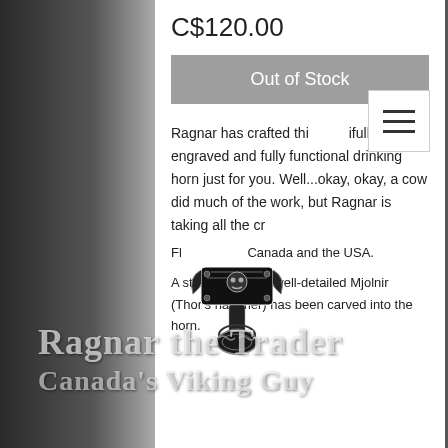C$120.00
Out of Stock
Ragnar has crafted this beautifully engraved and fully functional drinking horn just for you. Well...okay, okay, a cow did much of the work, but Ragnar is taking all the cr
[Figure (logo): Mjolnir (Thor's hammer) Viking logo in black and white]
Fr              Canada and the USA.
Ragnar the Trader
Canada's Viking Guy
A stunning, price, well-detailed Mjolnir (Thor's hammer) has been carved into the horn.
Featuring four separate detailed...